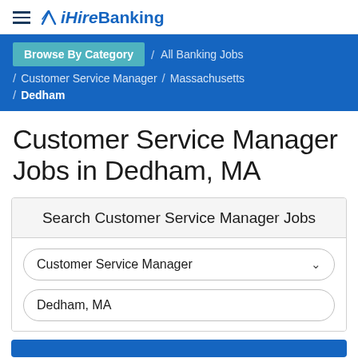iHireBanking
Browse By Category / All Banking Jobs / Customer Service Manager / Massachusetts / Dedham
Customer Service Manager Jobs in Dedham, MA
Search Customer Service Manager Jobs
Customer Service Manager (dropdown)
Dedham, MA